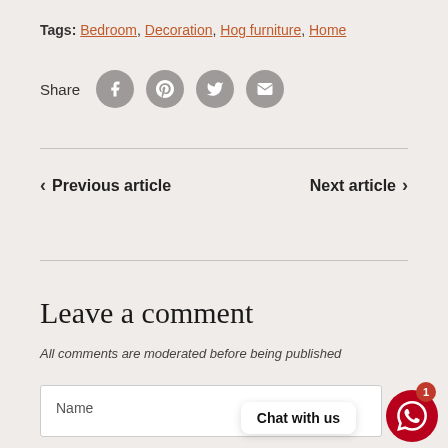Tags: Bedroom, Decoration, Hog furniture, Home
Share
< Previous article
Next article >
Leave a comment
All comments are moderated before being published
Name